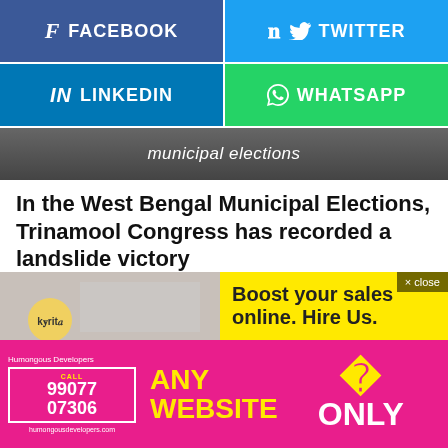[Figure (screenshot): Facebook share button]
[Figure (screenshot): Twitter share button]
[Figure (screenshot): LinkedIn share button]
[Figure (screenshot): WhatsApp share button]
[Figure (photo): Banner image with text 'municipal elections']
In the West Bengal Municipal Elections, Trinamool Congress has recorded a landslide victory
by Raksha Giri • 6 months ago
[Figure (infographic): Advertisement: Boost your sales online. Hire Us. Close button visible.]
[Figure (infographic): Advertisement: Humongous Developers. ANY WEBSITE ₹3000 ONLY. CALL 99077 07306. humongousdevelopers.com]